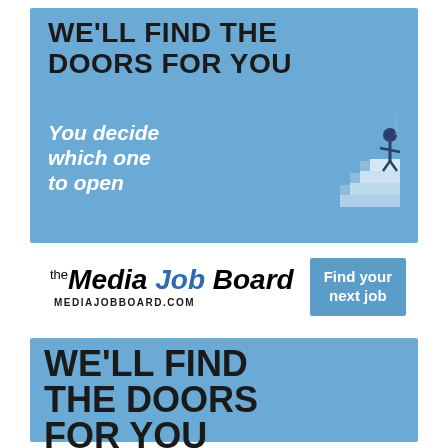[Figure (illustration): Advertisement banner with blue background. Large bold black text reads 'WE'LL FIND THE DOORS FOR YOU'. White italic text reads 'You decide which one to open'. Illustration of a person standing on stairs on the right side.]
[Figure (logo): The Media Job Board logo with URL MEDIAJOBBOARD.COM and a blue button reading 'Find your next job']
[Figure (illustration): Second advertisement banner with blue background and large bold black text reading 'WE'LL FIND THE DOORS FOR YOU']